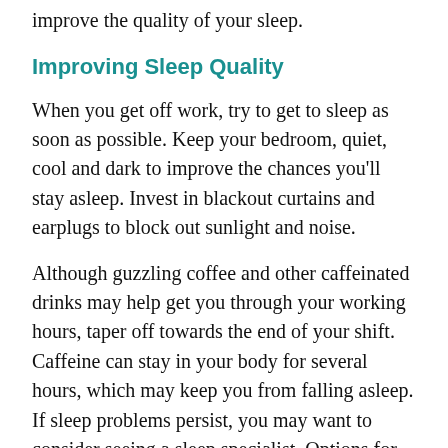improve the quality of your sleep.
Improving Sleep Quality
When you get off work, try to get to sleep as soon as possible. Keep your bedroom, quiet, cool and dark to improve the chances you'll stay asleep. Invest in blackout curtains and earplugs to block out sunlight and noise.
Although guzzling coffee and other caffeinated drinks may help get you through your working hours, taper off towards the end of your shift. Caffeine can stay in your body for several hours, which may keep you from falling asleep. If sleep problems persist, you may want to consider seeing a sleep specialist. Options for treatment include the following: